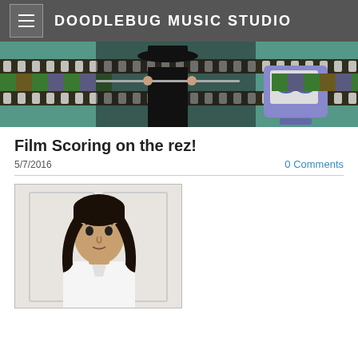DOODLEBUG MUSIC STUDIO
[Figure (photo): Banner image showing a person in a black hat and suit playing a flute, surrounded by a film strip with colorful frames and a vintage TV set with a butterfly on it, against a teal/turquoise background]
Film Scoring on the rez!
5/7/2016
0 Comments
[Figure (photo): Portrait photo of a young person with shoulder-length dark hair wearing a white dress shirt, standing against a light-colored wall with panel molding]